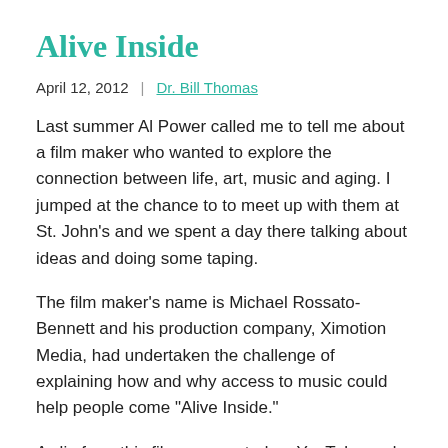Alive Inside
April 12, 2012  |  Dr. Bill Thomas
Last summer Al Power called me to tell me about a film maker who wanted to explore the connection between life, art, music and aging. I jumped at the chance to to meet up with them at St. John’s and we spent a day there talking about ideas and doing some taping.
The film maker’s name is Michael Rossato-Bennett and his production company, Ximotion Media, had undertaken the challenge of explaining how and why access to music could help people come “Alive Inside.”
A clip from this film was posted on YouTube and